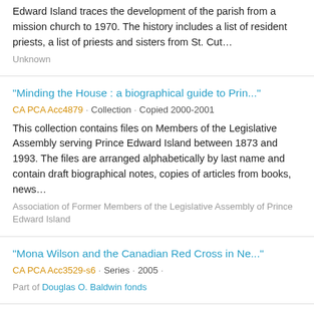Edward Island traces the development of the parish from a mission church to 1970. The history includes a list of resident priests, a list of priests and sisters from St. Cut…
Unknown
"Minding the House : a biographical guide to Prin..."
CA PCA Acc4879 · Collection · Copied 2000-2001
This collection contains files on Members of the Legislative Assembly serving Prince Edward Island between 1873 and 1993. The files are arranged alphabetically by last name and contain draft biographical notes, copies of articles from books, news...
Association of Former Members of the Legislative Assembly of Prince Edward Island
"Mona Wilson and the Canadian Red Cross in Ne..."
CA PCA Acc3529-s6 · Series · 2005 ·
Part of Douglas O. Baldwin fonds
"Railway King" photograph : [ca. 1872]
CA PCA Acc2966 · Collection · Photographed 1977
This collection consists of one photograph of a painting of the barque "Railway King", ca. 1872. The artist is unknown. The